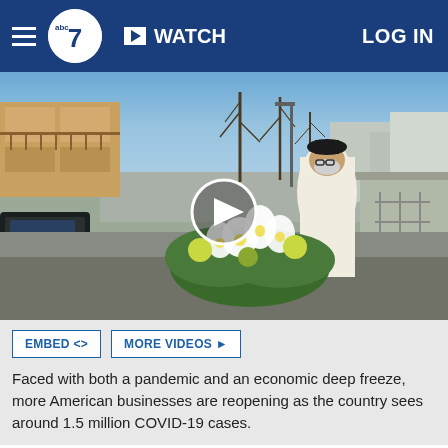abc7  WATCH  LOG IN
[Figure (photo): A Roman Catholic priest in white vestments and black hat, wearing a mask, standing outdoors near a street with flowers/lilies arrangement in the foreground and a car to the left. Blue sky and bare trees in background. Play button overlay on video thumbnail.]
Faced with both a pandemic and an economic deep freeze, more American businesses are reopening as the country sees around 1.5 million COVID-19 cases.
DETROIT -- A Roman Catholic priest in the Detroit area has taken aim at his parishioners in a bid to